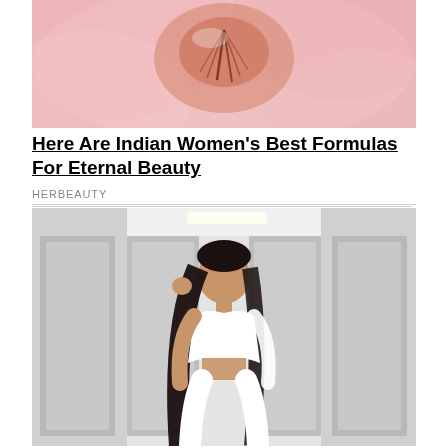[Figure (photo): Close-up photo of a pink flower with orange-brown center details, likely a hibiscus or similar bloom, soft pink petals visible]
Here Are Indian Women's Best Formulas For Eternal Beauty
HERBEAUTY
[Figure (photo): A young woman with long black hair wearing a white crop top and white lace-up pants, posing in what appears to be a modern locker room or hallway with gray doors]